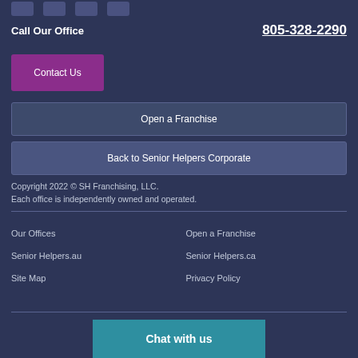Social media icons strip
Call Our Office   805-328-2290
Contact Us
Open a Franchise
Back to Senior Helpers Corporate
Copyright 2022 © SH Franchising, LLC.
Each office is independently owned and operated.
Our Offices
Open a Franchise
Senior Helpers.au
Senior Helpers.ca
Site Map
Privacy Policy
Chat with us